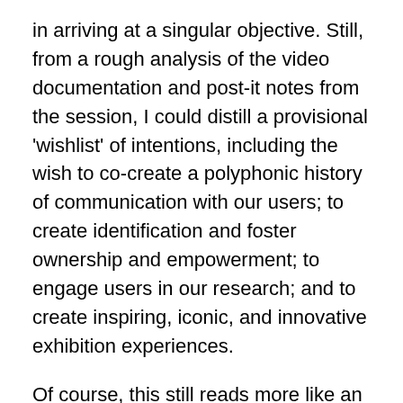in arriving at a singular objective. Still, from a rough analysis of the video documentation and post-it notes from the session, I could distill a provisional 'wishlist' of intentions, including the wish to co-create a polyphonic history of communication with our users; to create identification and foster ownership and empowerment; to engage users in our research; and to create inspiring, iconic, and innovative exhibition experiences.
Of course, this still reads more like an idealistic mission statement than a concrete design brief, but these grand objectives are also relevant as guidelines in our continued process. And of course, the discussion also pointed to many aspects that were still unresolved: whether user contributions should feed into research, or exhibitions, or both; whether participation should function as a means for